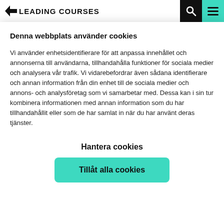LEADING COURSES
Denna webbplats använder cookies
Vi använder enhetsidentifierare för att anpassa innehållet och annonserna till användarna, tillhandahålla funktioner för sociala medier och analysera vår trafik. Vi vidarebefordrar även sådana identifierare och annan information från din enhet till de sociala medier och annons- och analysföretag som vi samarbetar med. Dessa kan i sin tur kombinera informationen med annan information som du har tillhandahållit eller som de har samlat in när du har använt deras tjänster.
Hantera cookies
Tillåt alla cookies
Handicap: 0.1